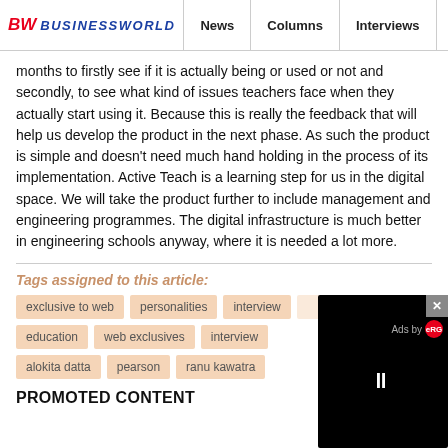BW BUSINESSWORLD | News | Columns | Interviews | BW
months to firstly see if it is actually being or used or not and secondly, to see what kind of issues teachers face when they actually start using it. Because this is really the feedback that will help us develop the product in the next phase. As such the product is simple and doesn't need much hand holding in the process of its implementation. Active Teach is a learning step for us in the digital space. We will take the product further to include management and engineering programmes. The digital infrastructure is much better in engineering schools anyway, where it is needed a lot more.
Tags assigned to this article:
exclusive to web
personalities
interview
education
web exclusives
interview
alokita datta
pearson
ranu kawatra
PROMOTED CONTENT